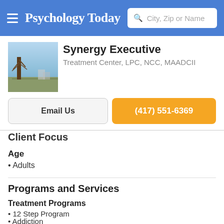Psychology Today — City, Zip or Name search
Synergy Executive
Treatment Center, LPC, NCC, MAADCII
Email Us
(417) 551-6369
Client Focus
Age
Adults
Programs and Services
Treatment Programs
12 Step Program
Addiction
Adult Residential